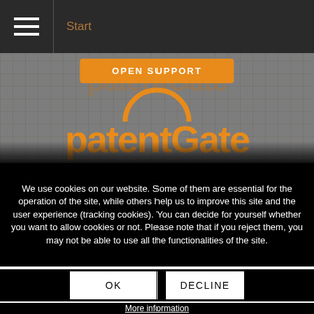Start
[Figure (logo): patentGate logo with orange text and arc symbol on gray background, with OPEN SUPPORT orange button above]
We use cookies on our website. Some of them are essential for the operation of the site, while others help us to improve this site and the user experience (tracking cookies). You can decide for yourself whether you want to allow cookies or not. Please note that if you reject them, you may not be able to use all the functionalities of the site.
OK
DECLINE
More information